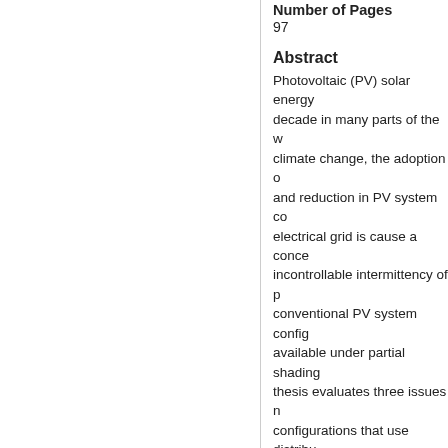Number of Pages
97
Abstract
Photovoltaic (PV) solar energy decade in many parts of the w climate change, the adoption o and reduction in PV system co electrical grid is cause a conce incontrollable intermittency of p conventional PV system config available under partial shading thesis evaluates three issues n configurations that use distribu shaded and/or mismatch condi for operation and maintenance current-voltage (IV) curves und software tool is used to compa PV systems under mismatch a image processing method is pr borderline cases. Finally, in the accurately determine the shape simulated curves compare wel
Keywords
Photovoltaic cells; Photovoltai